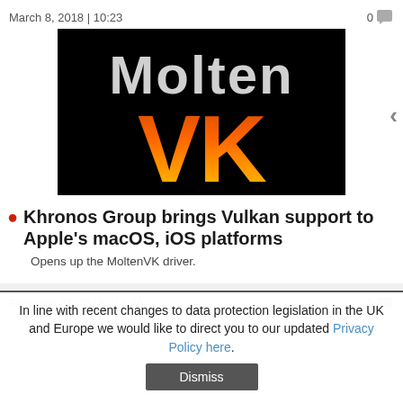March 8, 2018 | 10:23
[Figure (logo): MoltenVK logo on black background — 'Molten' in white text above 'VK' in large orange/red gradient letters]
Khronos Group brings Vulkan support to Apple's macOS, iOS platforms
Opens up the MoltenVK driver.
February 27, 2018 | 11:29
In line with recent changes to data protection legislation in the UK and Europe we would like to direct you to our updated Privacy Policy here.